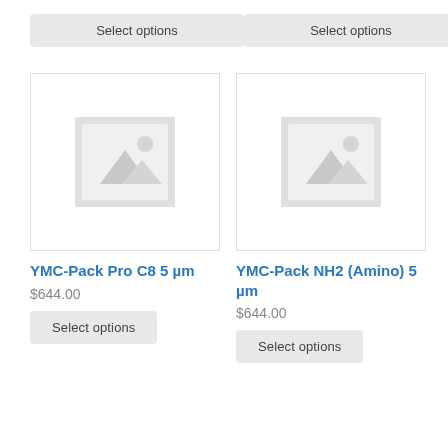Select options
Select options
[Figure (photo): Placeholder product image for YMC-Pack Pro C8 5 µm]
[Figure (photo): Placeholder product image for YMC-Pack NH2 (Amino) 5 µm]
YMC-Pack Pro C8 5 µm
$644.00
YMC-Pack NH2 (Amino) 5 µm
$644.00
Select options
Select options